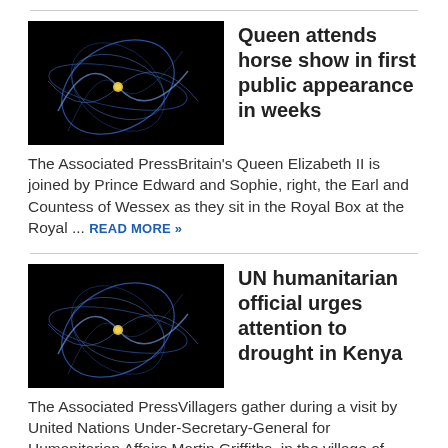[Figure (photo): Dark background with blue light trail orbital-like illustration with a yellow dot center]
Queen attends horse show in first public appearance in weeks
The Associated PressBritain's Queen Elizabeth II is joined by Prince Edward and Sophie, right, the Earl and Countess of Wessex as they sit in the Royal Box at the Royal ... READ MORE »
[Figure (photo): Dark background with blue light trail orbital-like illustration with a yellow dot center]
UN humanitarian official urges attention to drought in Kenya
The Associated PressVillagers gather during a visit by United Nations Under-Secretary-General for Humanitarian Affairs Martin Griffiths, in the village of ...